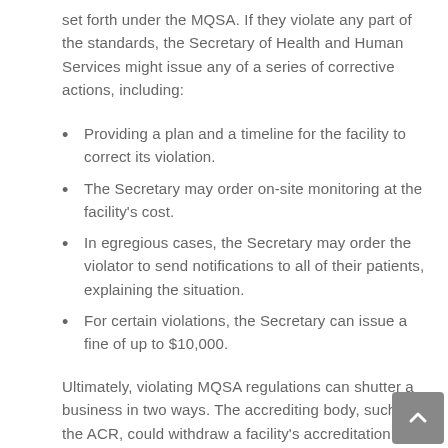set forth under the MQSA. If they violate any part of the standards, the Secretary of Health and Human Services might issue any of a series of corrective actions, including:
Providing a plan and a timeline for the facility to correct its violation.
The Secretary may order on-site monitoring at the facility's cost.
In egregious cases, the Secretary may order the violator to send notifications to all of their patients, explaining the situation.
For certain violations, the Secretary can issue a fine of up to $10,000.
Ultimately, violating MQSA regulations can shutter a business in two ways. The accrediting body, such as the ACR, could withdraw a facility's accreditation. Or the